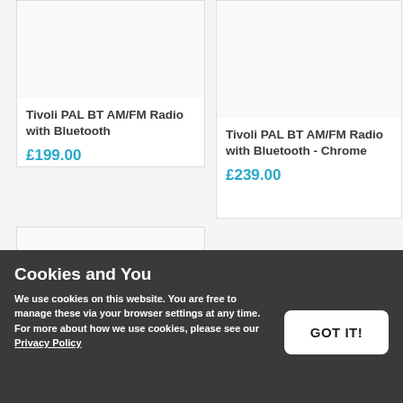Tivoli PAL BT AM/FM Radio with Bluetooth
£199.00
Tivoli PAL BT AM/FM Radio with Bluetooth - Chrome
£239.00
Cookies and You
We use cookies on this website. You are free to manage these via your browser settings at any time. For more about how we use cookies, please see our Privacy Policy